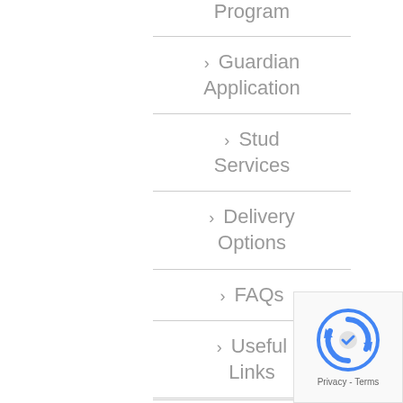Program
> Guardian Application
> Stud Services
> Delivery Options
> FAQs
> Useful Links
[Figure (other): Google reCAPTCHA badge with logo and Privacy - Terms text]